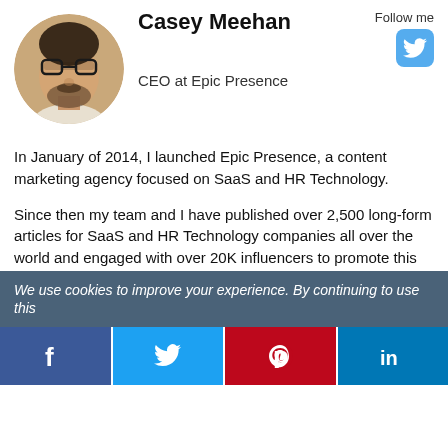[Figure (photo): Profile photo of Casey Meehan, a man with glasses and beard, circular crop]
Casey Meehan
CEO at Epic Presence
Follow me
[Figure (logo): Twitter bird icon button in light blue rounded square]
In January of 2014, I launched Epic Presence, a content marketing agency focused on SaaS and HR Technology.
Since then my team and I have published over 2,500 long-form articles for SaaS and HR Technology companies all over the world and engaged with over 20K influencers to promote this content.
I'd be happy to chat with you about anything and everything we have learned along that journey. Please don't hesitate to reach out!
We use cookies to improve your experience. By continuing to use this
[Figure (infographic): Social share bar with Facebook, Twitter, Pinterest, and LinkedIn buttons]